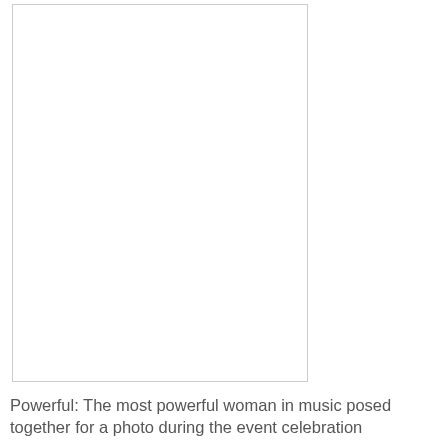[Figure (photo): A photo placeholder showing a white rectangle with a thin border, representing a photo of the most powerful woman in music posed together during an event celebration.]
Powerful: The most powerful woman in music posed together for a photo during the event celebration